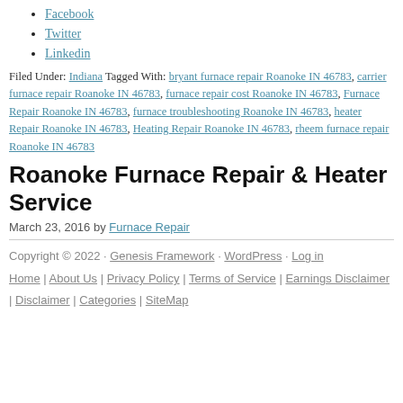Facebook
Twitter
Linkedin
Filed Under: Indiana Tagged With: bryant furnace repair Roanoke IN 46783, carrier furnace repair Roanoke IN 46783, furnace repair cost Roanoke IN 46783, Furnace Repair Roanoke IN 46783, furnace troubleshooting Roanoke IN 46783, heater Repair Roanoke IN 46783, Heating Repair Roanoke IN 46783, rheem furnace repair Roanoke IN 46783
Roanoke Furnace Repair & Heater Service
March 23, 2016 by Furnace Repair
Copyright © 2022 · Genesis Framework · WordPress · Log in
Home | About Us | Privacy Policy | Terms of Service | Earnings Disclaimer | Disclaimer | Categories | SiteMap